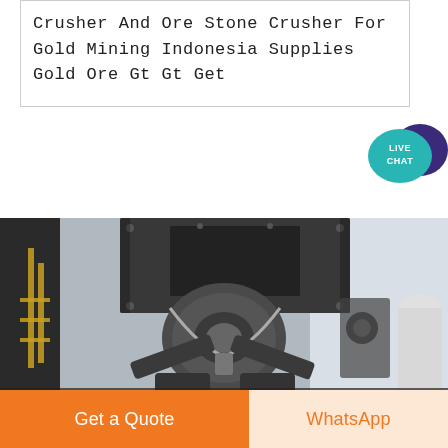Crusher And Ore Stone Crusher For Gold Mining Indonesia Supplies Gold Ore Gt Gt Get
[Figure (photo): Close-up industrial photo of a large ore stone crusher machine with belt drive mechanism, pulleys and metal frame, taken in an industrial facility]
Get a Quote
WhatsApp